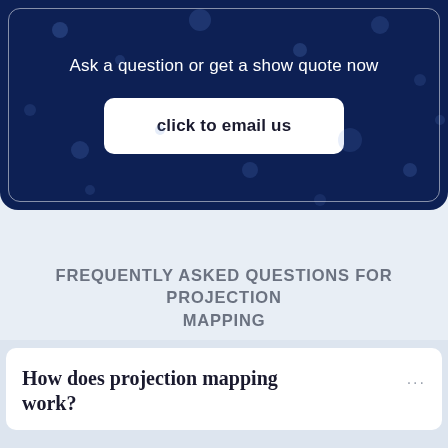[Figure (screenshot): Dark navy blue banner section with bokeh dot pattern background, white inner border rectangle, text 'Ask a question or get a show quote now' in white, and a white rounded button labeled 'click to email us']
FREQUENTLY ASKED QUESTIONS FOR PROJECTION MAPPING
How does projection mapping work?